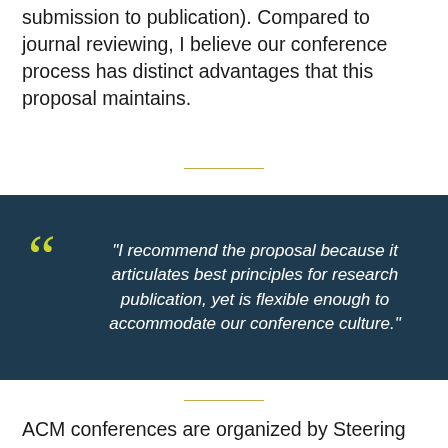submission to publication). Compared to journal reviewing, I believe our conference process has distinct advantages that this proposal maintains.
"I recommend the proposal because it articulates best principles for research publication, yet is flexible enough to accommodate our conference culture."
ACM conferences are organized by Steering Committees, with general and program chairs and SIG representatives. Program chairs generally serve once for one year. They select Program Committee (PC) members, who each review 10 to 30 submissions and act as editors, choosing accepted papers. Because of increasing numbers of submissions, many conferences